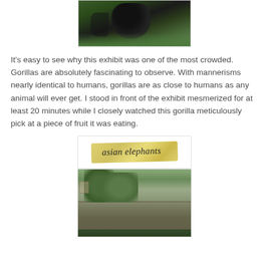[Figure (photo): Photo of a gorilla in a green foliage environment, partially cropped at top]
It's easy to see why this exhibit was one of the most crowded. Gorillas are absolutely fascinating to observe. With mannerisms nearly identical to humans, gorillas are as close to humans as any animal will ever get. I stood in front of the exhibit mesmerized for at least 20 minutes while I closely watched this gorilla meticulously pick at a piece of fruit it was eating.
[Figure (illustration): Decorative banner/label reading 'asian elephants' in italic script on a golden/yellow brushstroke background]
[Figure (photo): Photo of elephant enclosure with stone wall and trees, partially cropped at bottom]